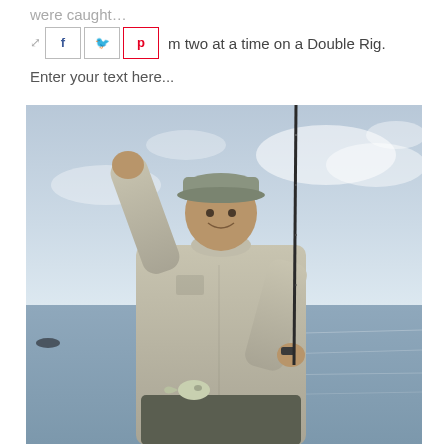...m two at a time on a Double Rig.
Enter your text here...
[Figure (photo): Man standing on a boat holding a fish and a fishing rod, with water and cloudy sky in the background. He is wearing a light khaki fishing shirt and a cap, and has one arm raised.]